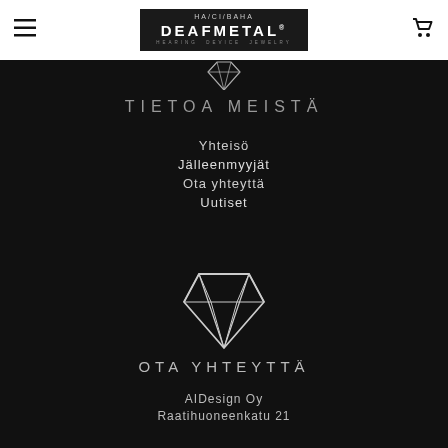HA/CI/BAHA DEAFMETAL® HEARING DEVICE JEWELRY
[Figure (illustration): Small white diamond/gem outline icon pointing down]
TIETOA MEISTÄ
Yhteisö
Jälleenmyyjät
Ota yhteyttä
Uutiset
[Figure (illustration): Large white diamond/gem outline icon]
OTA YHTEYTTÄ
AIDesign Oy
Raatihuoneenkatu 21